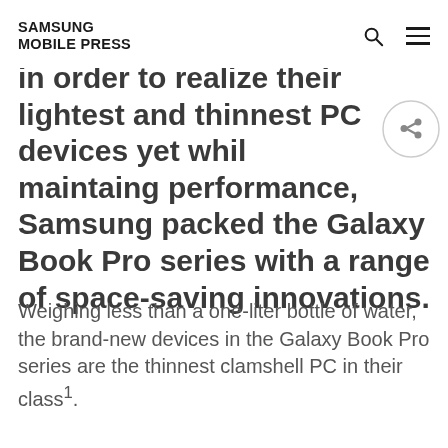SAMSUNG MOBILE PRESS
in order to realize their lightest and thinnest PC devices yet while maintaing performance, Samsung packed the Galaxy Book Pro series with a range of space-saving innovations.
Weighing less than a one-liter bottle of water, the brand-new devices in the Galaxy Book Pro series are the thinnest clamshell PC in their class¹.